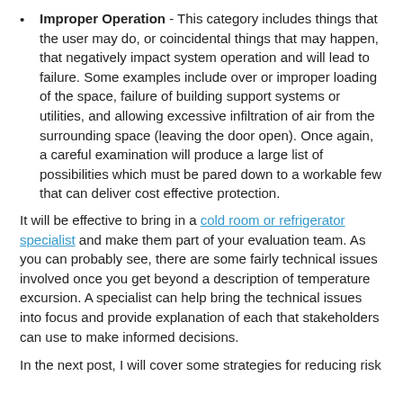Improper Operation - This category includes things that the user may do, or coincidental things that may happen, that negatively impact system operation and will lead to failure. Some examples include over or improper loading of the space, failure of building support systems or utilities, and allowing excessive infiltration of air from the surrounding space (leaving the door open). Once again, a careful examination will produce a large list of possibilities which must be pared down to a workable few that can deliver cost effective protection.
It will be effective to bring in a cold room or refrigerator specialist and make them part of your evaluation team. As you can probably see, there are some fairly technical issues involved once you get beyond a description of temperature excursion. A specialist can help bring the technical issues into focus and provide explanation of each that stakeholders can use to make informed decisions.
In the next post, I will cover some strategies for reducing risk